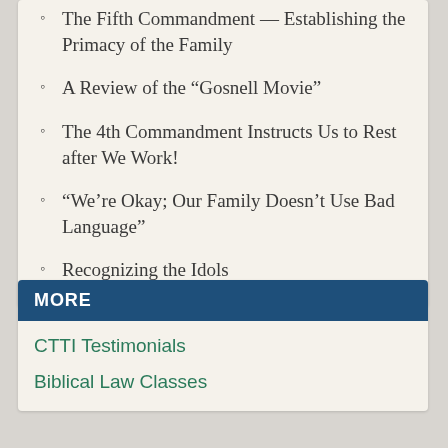The Fifth Commandment — Establishing the Primacy of the Family
A Review of the “Gosnell Movie”
The 4th Commandment Instructs Us to Rest after We Work!
“We’re Okay; Our Family Doesn’t Use Bad Language”
Recognizing the Idols
MORE
CTTI Testimonials
Biblical Law Classes